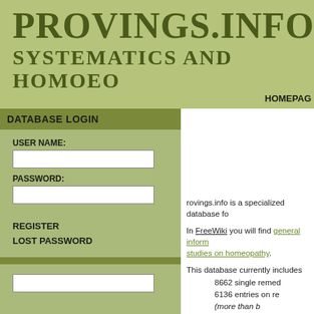PROVINGS.INFO
SYSTEMATICS AND HOMOEO
HOMEPAGE
DATABASE LOGIN
USER NAME:
PASSWORD:
REGISTER
LOST PASSWORD
rovings.info is a specialized database fo
In FreeWiki you will find general inform studies on homeopathy.
This database currently includes
8662 single remed
6136 entries on re
(more than b